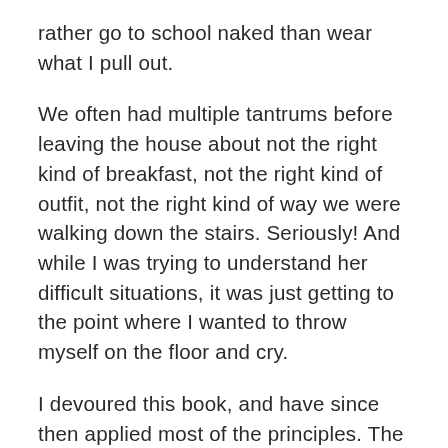rather go to school naked than wear what I pull out.
We often had multiple tantrums before leaving the house about not the right kind of breakfast, not the right kind of outfit, not the right kind of way we were walking down the stairs. Seriously! And while I was trying to understand her difficult situations, it was just getting to the point where I wanted to throw myself on the floor and cry.
I devoured this book, and have since then applied most of the principles. The most important part for me is that every child has a different temperament. It's not about one child being better than another, it's just about how their